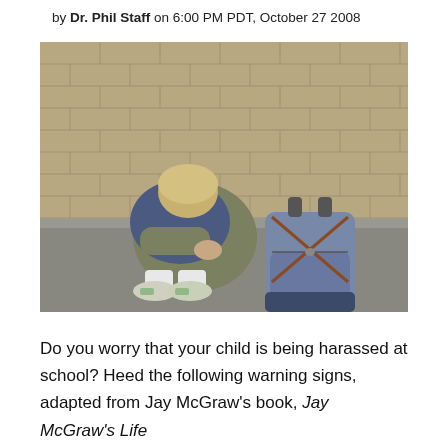by Dr. Phil Staff on 6:00 PM PDT, October 27 2008
[Figure (photo): A child sitting curled up against a brick wall with knees drawn to chest and head down, next to a blue/grey backpack on the ground. The child is wearing jeans, a grey-green jacket, white socks and green/white sneakers.]
Do you worry that your child is being harassed at school? Heed the following warning signs, adapted from Jay McGraw's book, Jay McGraw's Life